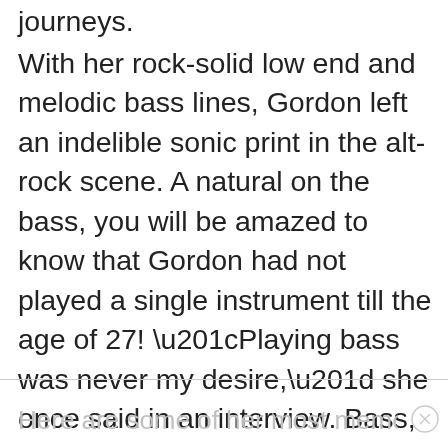journeys.
With her rock-solid low end and melodic bass lines, Gordon left an indelible sonic print in the alt-rock scene. A natural on the bass, you will be amazed to know that Gordon had not played a single instrument till the age of 27! “Playing bass was never my desire,” she once said in an interview. Bass, apparently, just happened by accident in pursuit of creating something exciting! Gordon considers herself more a visual artist than a musician.
Here are some of her most memorable